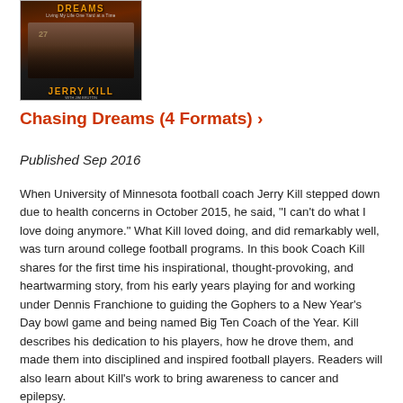[Figure (photo): Book cover of 'Chasing Dreams: Living My Life One Yard at a Time' by Jerry Kill, showing a football coach with arms raised]
Chasing Dreams (4 Formats) ›
Published Sep 2016
When University of Minnesota football coach Jerry Kill stepped down due to health concerns in October 2015, he said, "I can't do what I love doing anymore." What Kill loved doing, and did remarkably well, was turn around college football programs. In this book Coach Kill shares for the first time his inspirational, thought-provoking, and heartwarming story, from his early years playing for and working under Dennis Franchione to guiding the Gophers to a New Year's Day bowl game and being named Big Ten Coach of the Year. Kill describes his dedication to his players, how he drove them, and made them into disciplined and inspired football players. Readers will also learn about Kill's work to bring awareness to cancer and epilepsy.